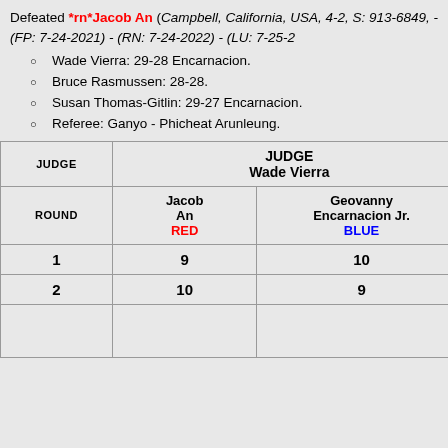Defeated *rn*Jacob An (Campbell, California, USA, 4-2, S: 913-6849, - (FP: 7-24-2021) - (RN: 7-24-2022) - (LU: 7-25-2...)
Wade Vierra: 29-28 Encarnacion.
Bruce Rasmussen: 28-28.
Susan Thomas-Gitlin: 29-27 Encarnacion.
Referee: Ganyo - Phicheat Arunleung.
| JUDGE | JUDGE Wade Vierra |  | JUDGE Bruce Rasmus... |  |
| --- | --- | --- | --- | --- |
| ROUND | Jacob An RED | Geovanny Encarnacion Jr. BLUE | Jacob An RED | Geovanny Encarnacion Jr. BLUE |
| 1 | 9 | 10 | 10 | 9 |
| 2 | 10 | 9 | 10 | 9 |